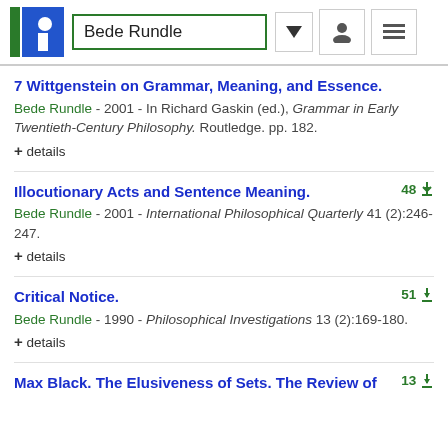Bede Rundle
7 Wittgenstein on Grammar, Meaning, and Essence.
Bede Rundle - 2001 - In Richard Gaskin (ed.), Grammar in Early Twentieth-Century Philosophy. Routledge. pp. 182.
+ details
Illocutionary Acts and Sentence Meaning.
Bede Rundle - 2001 - International Philosophical Quarterly 41 (2):246-247.
+ details
Critical Notice.
Bede Rundle - 1990 - Philosophical Investigations 13 (2):169-180.
+ details
Max Black. The Elusiveness of Sets. The Review of